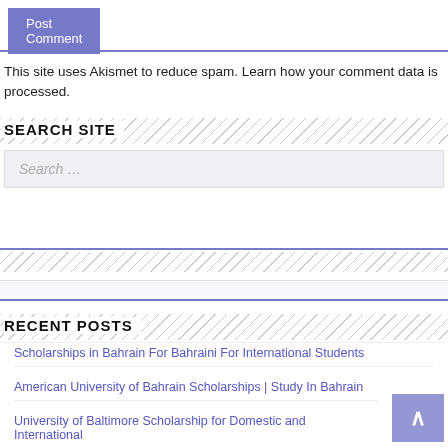Post Comment
This site uses Akismet to reduce spam. Learn how your comment data is processed.
SEARCH SITE
Search …
Search
RECENT POSTS
Scholarships in Bahrain For Bahraini For International Students
American University of Bahrain Scholarships | Study In Bahrain
University of Baltimore Scholarship for Domestic and International Students